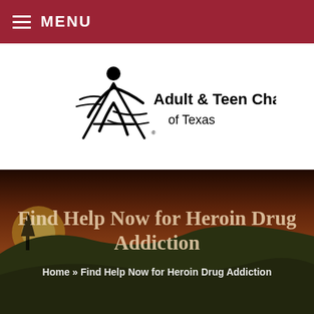MENU
[Figure (logo): Adult & Teen Challenge of Texas logo with stylized figure]
Find Help Now for Heroin Drug Addiction
Home » Find Help Now for Heroin Drug Addiction